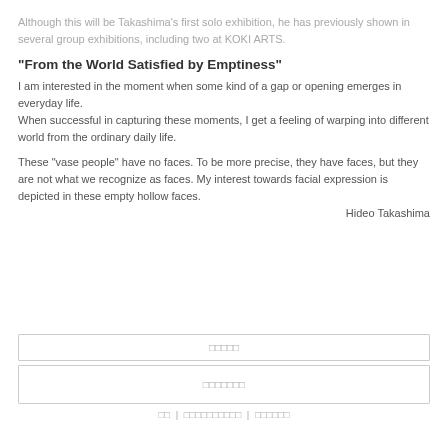Although this will be Takashima's first solo exhibition, he has previously shown in several group exhibitions, including two at KOKI ARTS.
"From the World Satisfied by Emptiness"
I am interested in the moment when some kind of a gap or opening emerges in everyday life.
When successful in capturing these moments, I get a feeling of warping into different world from the ordinary daily life.
These "vase people" have no faces. To be more precise, they have faces, but they are not what we recognize as faces. My interest towards facial expression is depicted in these empty hollow faces.
Hideo Takashima
□□□□□
□□□□□□□
□□ | □□□□□□□□□□ | □□□□□□